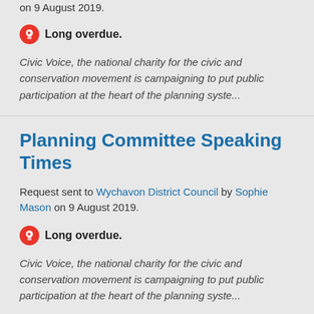on 9 August 2019.
Long overdue.
Civic Voice, the national charity for the civic and conservation movement is campaigning to put public participation at the heart of the planning syste...
Planning Committee Speaking Times
Request sent to Wychavon District Council by Sophie Mason on 9 August 2019.
Long overdue.
Civic Voice, the national charity for the civic and conservation movement is campaigning to put public participation at the heart of the planning syste...